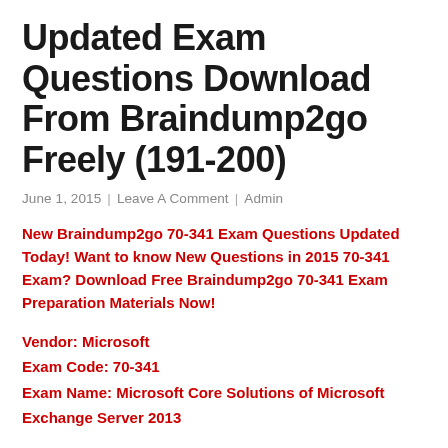Updated Exam Questions Download From Braindump2go Freely (191-200)
June 1, 2015  |  Leave A Comment  |  Admin
New Braindump2go 70-341 Exam Questions Updated Today! Want to know New Questions in 2015 70-341 Exam? Download Free Braindump2go 70-341 Exam Preparation Materials Now!
Vendor: Microsoft
Exam Code: 70-341
Exam Name: Microsoft Core Solutions of Microsoft Exchange Server 2013